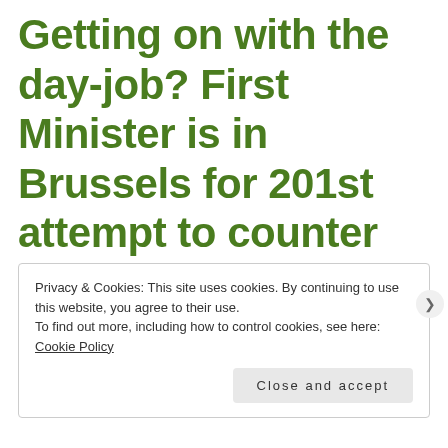Getting on with the day-job? First Minister is in Brussels for 201st attempt to counter Tory Brexit damage to Scottish economy
Privacy & Cookies: This site uses cookies. By continuing to use this website, you agree to their use.
To find out more, including how to control cookies, see here: Cookie Policy
Close and accept